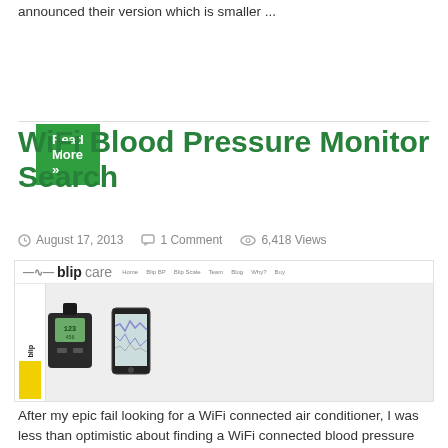announced their version which is smaller ...
Read More »
WiFi Blood Pressure Monitor Search
August 17, 2013   1 Comment   6,418 Views
[Figure (screenshot): Screenshot of blipcare website showing a WiFi blood pressure monitor device and smartphone app]
After my epic fail looking for a WiFi connected air conditioner, I was less than optimistic about finding a WiFi connected blood pressure monitor. There are